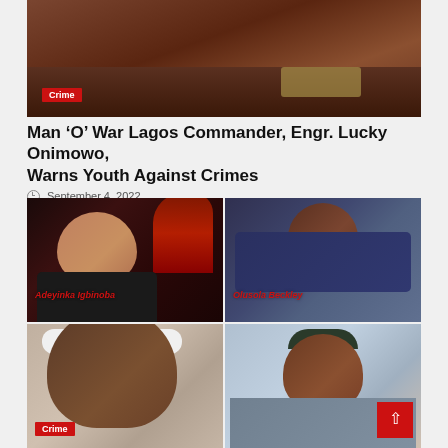[Figure (photo): Man in police/military uniform with blue beret and medals, close-up portrait]
Crime
Man ‘O’ War Lagos Commander, Engr. Lucky Onimowo, Warns Youth Against Crimes
September 4, 2022
[Figure (photo): Four-panel photo collage: top-left shows Adeyinka Igbinoba (woman with red hair), top-right shows Olusola Beckley (man in blue patterned shirt), bottom-left shows a man with white cap (Crime label), bottom-right shows a man in police uniform with black beret]